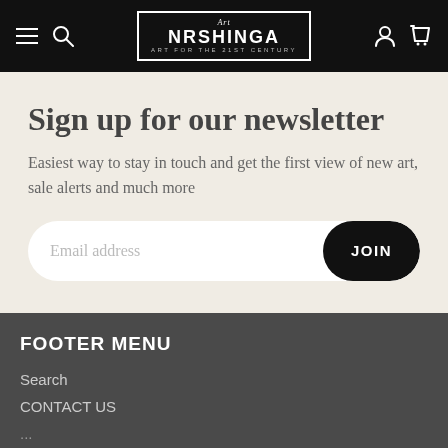Art NRSHINGA — ART FOR THE 21ST CENTURY
Sign up for our newsletter
Easiest way to stay in touch and get the first view of new art, sale alerts and much more
Email address [JOIN button]
FOOTER MENU
Search
CONTACT US
...